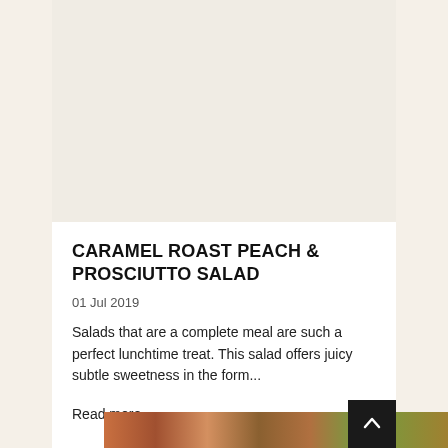[Figure (photo): White empty space / blank image placeholder area at top of card]
CARAMEL ROAST PEACH & PROSCIUTTO SALAD
01 Jul 2019
Salads that are a complete meal are such a perfect lunchtime treat. This salad offers juicy subtle sweetness in the form...
Read more »
[Figure (photo): Colorful food photograph strip at bottom showing a salad dish]